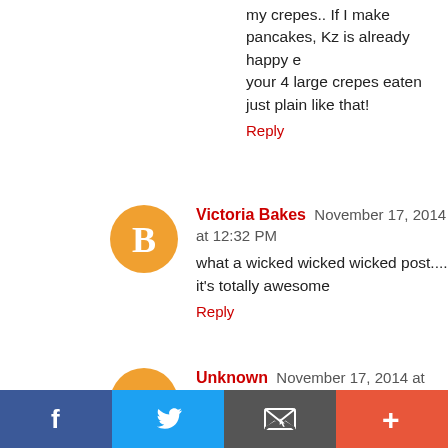my crepes.. If I make pancakes, Kz is already happy e your 4 large crepes eaten just plain like that!
Reply
Victoria Bakes  November 17, 2014 at 12:32 PM
what a wicked wicked wicked post.... it's totally awesome
Reply
Unknown  November 17, 2014 at 2:18 PM
This recipe looks awesome! I love crepes and panca regular sugar, I'm not a fanatic of sugar replacements b on trying it!
Reply
Sokehah cheah  November 17, 2014 at 2:22 PM